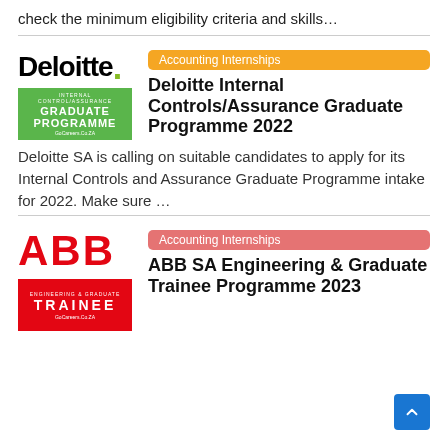check the minimum eligibility criteria and skills…
[Figure (logo): Deloitte logo with green dot and Graduate Programme banner]
Deloitte Internal Controls/Assurance Graduate Programme 2022
Deloitte SA is calling on suitable candidates to apply for its Internal Controls and Assurance Graduate Programme intake for 2022. Make sure …
[Figure (logo): ABB logo in red letters and red Trainee banner]
ABB SA Engineering & Graduate Trainee Programme 2023